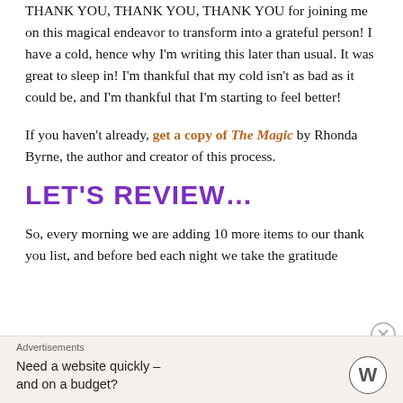THANK YOU, THANK YOU, THANK YOU for joining me on this magical endeavor to transform into a grateful person! I have a cold, hence why I'm writing this later than usual. It was great to sleep in! I'm thankful that my cold isn't as bad as it could be, and I'm thankful that I'm starting to feel better!
If you haven't already, get a copy of The Magic by Rhonda Byrne, the author and creator of this process.
LET'S REVIEW…
So, every morning we are adding 10 more items to our thank you list, and before bed each night we take the gratitude
Advertisements
Need a website quickly – and on a budget?